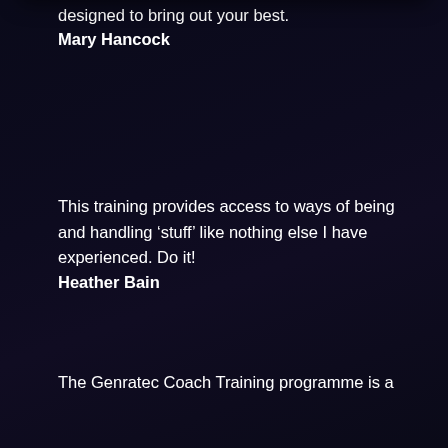designed to bring out your best.
Mary Hancock
This training provides access to ways of being and handling ‘stuff’ like nothing else I have experienced. Do it!
Heather Bain
The Genratec Coach Training programme is a
[Figure (screenshot): Notification card showing a map of Auckland and text: 'someone from Auckland - Recently signed up for Genratec - 23 day(s) ago - by RealCore']